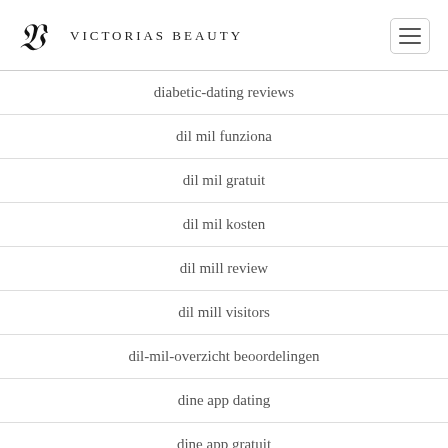Victorias Beauty
diabetic-dating reviews
dil mil funziona
dil mil gratuit
dil mil kosten
dil mill review
dil mill visitors
dil-mil-overzicht beoordelingen
dine app dating
dine app gratuit